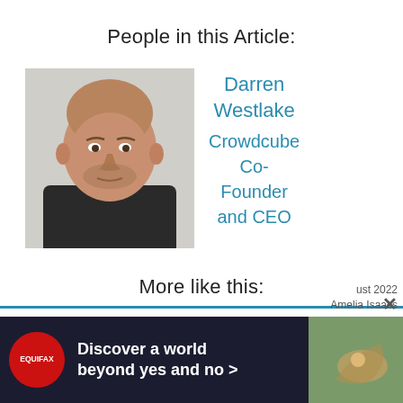People in this Article:
[Figure (photo): Headshot of Darren Westlake, a bald man in a dark shirt against a light background]
Darren Westlake
Crowdcube Co-Founder and CEO
More like this:
No more excuses: there’s now a women in fintech sp...
[Figure (advertisement): Equifax ad: Discover a world beyond yes and no >]
ust 2022
Amelia Isaacs